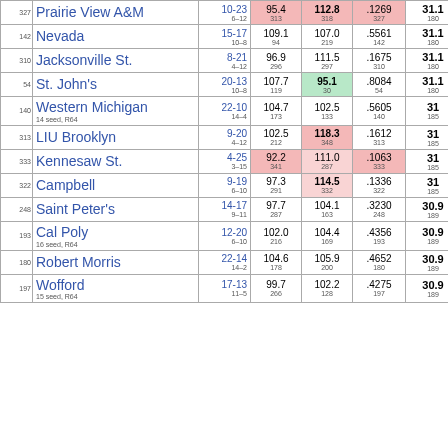| Rank | Team | Record | Off | Def | Pct | Score |
| --- | --- | --- | --- | --- | --- | --- |
| 327 | Prairie View A&M | 10-23 / 6-12 | 95.4 / 313 | 112.8 / 318 | .1269 / 327 | 31.1 / 180 |
| 142 | Nevada | 15-17 / 10-8 | 109.1 / 94 | 107.0 / 219 | .5561 / 142 | 31.1 / 180 |
| 310 | Jacksonville St. | 8-21 / 4-12 | 96.9 / 296 | 111.5 / 297 | .1675 / 310 | 31.1 / 180 |
| 54 | St. John's | 20-13 / 10-8 | 107.7 / 119 | 95.1 / 30 | .8084 / 54 | 31.1 / 180 |
| 140 | Western Michigan (14 seed, R64) | 22-10 / 14-4 | 104.7 / 173 | 102.5 / 133 | .5605 / 140 | 31 / 185 |
| 313 | LIU Brooklyn | 9-20 / 4-12 | 102.5 / 212 | 118.3 / 348 | .1612 / 313 | 31 / 185 |
| 333 | Kennesaw St. | 4-25 / 3-15 | 92.2 / 341 | 111.0 / 287 | .1063 / 333 | 31 / 185 |
| 322 | Campbell | 9-19 / 6-10 | 97.3 / 291 | 114.5 / 332 | .1336 / 322 | 31 / 185 |
| 248 | Saint Peter's | 14-17 / 9-11 | 97.7 / 287 | 104.1 / 163 | .3230 / 248 | 30.9 / 189 |
| 193 | Cal Poly (16 seed, R64) | 12-20 / 6-10 | 102.0 / 216 | 104.4 / 169 | .4356 / 193 | 30.9 / 189 |
| 180 | Robert Morris | 22-14 / 14-2 | 104.6 / 178 | 105.9 / 200 | .4652 / 180 | 30.9 / 189 |
| 197 | Wofford (15 seed, R64) | 17-13 / 11-5 | 99.7 / 266 | 102.2 / 128 | .4275 / 197 | 30.9 / 189 |